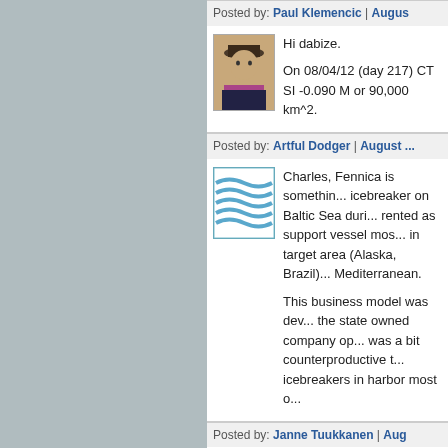Posted by: Paul Klemencic | Augus...
[Figure (photo): Avatar photo of a person wearing a hat and scarf]
Hi dabize.

On 08/04/12 (day 217) CT SI -0.090 M or 90,000 km^2.
Posted by: Artful Dodger | August ...
[Figure (illustration): Avatar with blue wavy lines on white background]
Charles, Fennica is somethin... icebreaker on Baltic Sea duri... rented as support vessel mos... in target area (Alaska, Brazil)... Mediterranean.

This business model was dev... the state owned company op... was a bit counterproductive t... icebreakers in harbor most o...
Posted by: Janne Tuukkanen | Aug...
[Figure (illustration): Avatar with green and yellow fragmented pattern]
Noyan: I think the answer t...